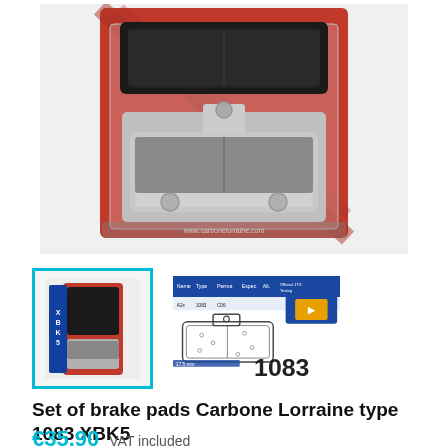[Figure (photo): Main product photo of Carbone Lorraine brake pads set in red packaging blister, showing two brake pad assemblies with metallic backing plates]
[Figure (photo): Small thumbnail of the brake pads set in red packaging with blue XBK5 label]
[Figure (schematic): Technical diagram of brake pad type 1083 showing dimensions and part number 1083, with a line drawing of the brake pad shape and a blue/orange specification card]
Set of brake pads Carbone Lorraine type 1083 XBK5
€35.90  VAT included